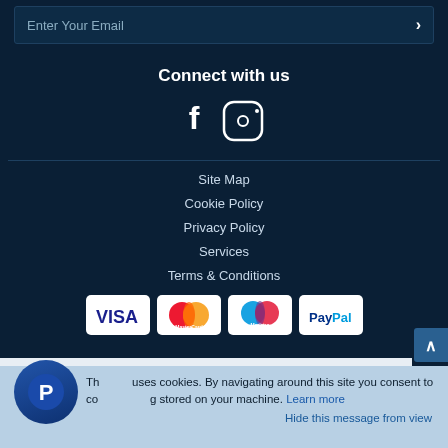Enter Your Email
Connect with us
[Figure (other): Facebook and Instagram social media icons]
Site Map
Cookie Policy
Privacy Policy
Services
Terms & Conditions
[Figure (other): Payment method icons: VISA, MasterCard, Maestro, PayPal]
This site uses cookies. By navigating around this site you consent to cookies being stored on your machine. Learn more
Hide this message from view